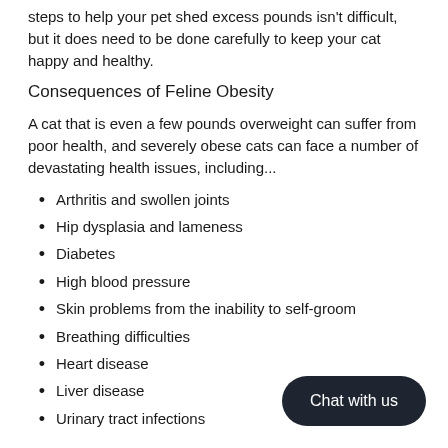steps to help your pet shed excess pounds isn't difficult, but it does need to be done carefully to keep your cat happy and healthy.
Consequences of Feline Obesity
A cat that is even a few pounds overweight can suffer from poor health, and severely obese cats can face a number of devastating health issues, including...
Arthritis and swollen joints
Hip dysplasia and lameness
Diabetes
High blood pressure
Skin problems from the inability to self-groom
Breathing difficulties
Heart disease
Liver disease
Urinary tract infections